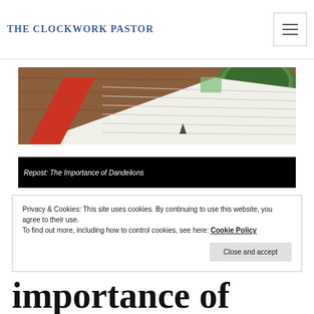THE CLOCKWORK PASTOR
[Figure (photo): Top-down photo of a spiral notebook with lined pages, red binding, and a green bowl in the upper right corner on a wooden table]
[Figure (photo): Small thumbnail image for post titled Repost: The Importance of Dandelions, shown with dark/black background]
Privacy & Cookies: This site uses cookies. By continuing to use this website, you agree to their use.
To find out more, including how to control cookies, see here: Cookie Policy
importance of